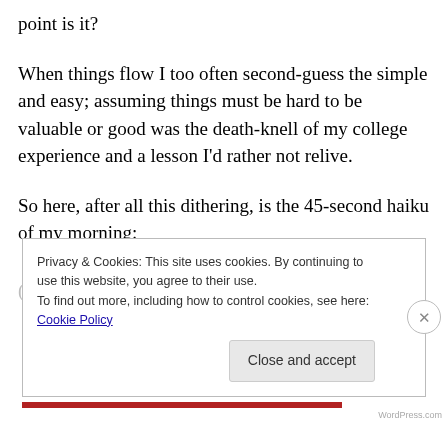point is it?
When things flow I too often second-guess the simple and easy; assuming things must be hard to be valuable or good was the death-knell of my college experience and a lesson I’d rather not relive.
So here, after all this dithering, is the 45-second haiku of my morning:
(partial text obscured)
Privacy & Cookies: This site uses cookies. By continuing to use this website, you agree to their use. To find out more, including how to control cookies, see here: Cookie Policy
Close and accept